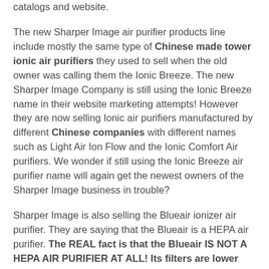catalogs and website.
The new Sharper Image air purifier products line include mostly the same type of Chinese made tower ionic air purifiers they used to sell when the old owner was calling them the Ionic Breeze. The new Sharper Image Company is still using the Ionic Breeze name in their website marketing attempts! However they are now selling Ionic air purifiers manufactured by different Chinese companies with different names such as Light Air Ion Flow and the Ionic Comfort Air purifiers. We wonder if still using the Ionic Breeze air purifier name will again get the newest owners of the Sharper Image business in trouble?
Sharper Image is also selling the Blueair ionizer air purifier. They are saying that the Blueair is a HEPA air purifier. The REAL fact is that the Blueair IS NOT A HEPA AIR PURIFIER AT ALL! Its filters are lower